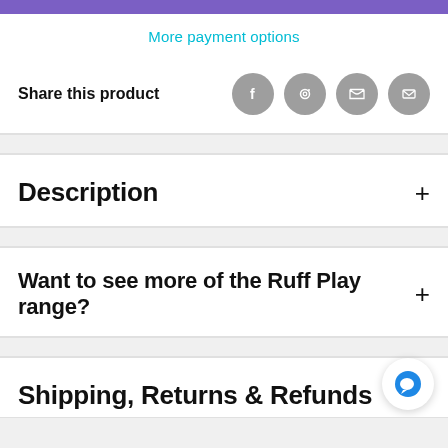More payment options
Share this product
Description
Want to see more of the Ruff Play range?
Shipping, Returns & Refunds